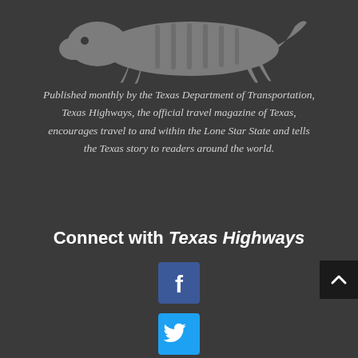[Figure (logo): Stylized gray armadillo/gecko lizard silhouette logo for Texas Highways magazine]
Published monthly by the Texas Department of Transportation, Texas Highways, the official travel magazine of Texas, encourages travel to and within the Lone Star State and tells the Texas story to readers around the world.
Connect with Texas Highways
[Figure (illustration): Facebook social media icon button — blue square with white 'f' letter]
[Figure (illustration): Twitter social media icon button — cyan/blue square with white bird logo]